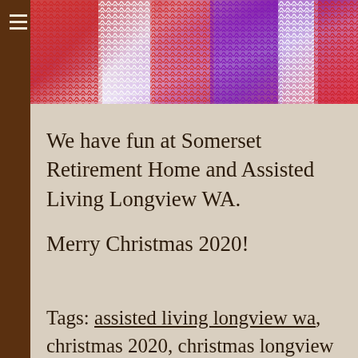[Figure (photo): Close-up photo of colorful knitted or crocheted textile in red, white, and purple colors]
We have fun at Somerset Retirement Home and Assisted Living Longview WA.

Merry Christmas 2020!
Tags: assisted living longview wa, christmas 2020, christmas longview wa,